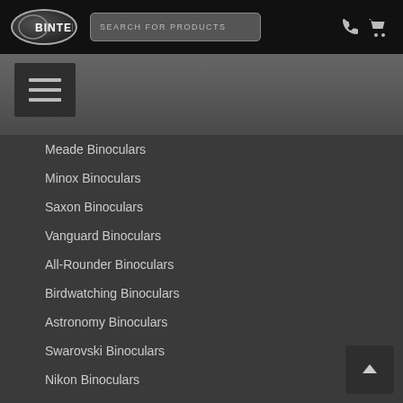BINTEL — SEARCH FOR PRODUCTS
[Figure (screenshot): Hamburger menu button icon with three horizontal lines]
Meade Binoculars
Minox Binoculars
Saxon Binoculars
Vanguard Binoculars
All-Rounder Binoculars
Birdwatching Binoculars
Astronomy Binoculars
Swarovski Binoculars
Nikon Binoculars
Bushnell Binoculars
Celestron Binoculars
Orion Binoculars
Pentax Binoculars